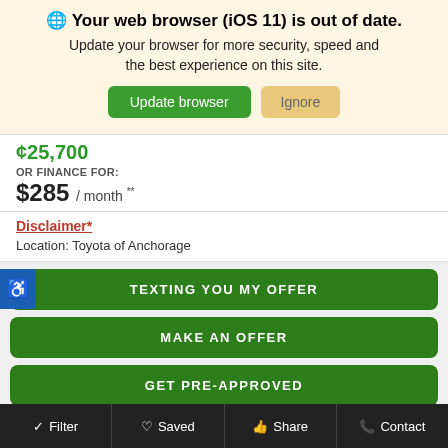Your web browser (iOS 11) is out of date.
Update your browser for more security, speed and the best experience on this site.
Update browser | Ignore
OR FINANCE FOR:
$285 / month **
Disclaimer*
Location: Toyota of Anchorage
TEXTING YOU MY OFFER
MAKE AN OFFER
GET PRE-APPROVED
GET TRADE-IN VALUE
GET DIRECTIONS
Filter | Saved | Share | Contact